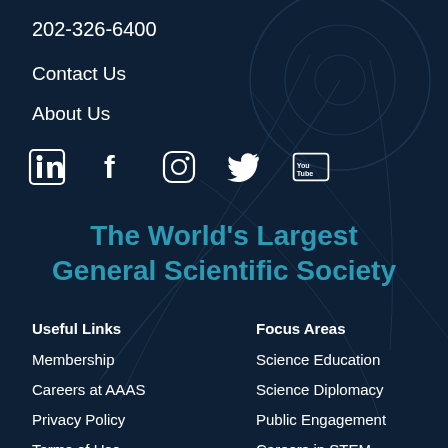202-326-6400
Contact Us
About Us
[Figure (illustration): Social media icons: LinkedIn, Facebook, Instagram, Twitter, YouTube]
The World's Largest General Scientific Society
Useful Links
Focus Areas
Membership
Science Education
Careers at AAAS
Science Diplomacy
Privacy Policy
Public Engagement
Terms of Use
Careers in STEM